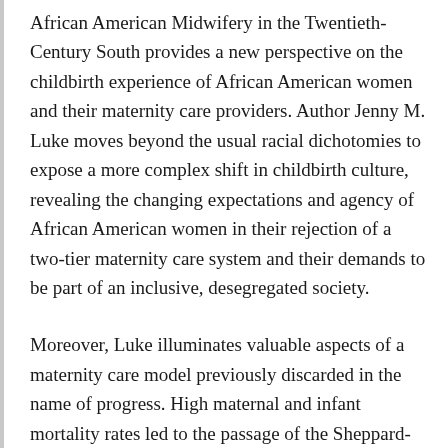African American Midwifery in the Twentieth-Century South provides a new perspective on the childbirth experience of African American women and their maternity care providers. Author Jenny M. Luke moves beyond the usual racial dichotomies to expose a more complex shift in childbirth culture, revealing the changing expectations and agency of African American women in their rejection of a two-tier maternity care system and their demands to be part of an inclusive, desegregated society.
Moreover, Luke illuminates valuable aspects of a maternity care model previously discarded in the name of progress. High maternal and infant mortality rates led to the passage of the Sheppard-Towner Maternity and Infancy Protection Act in 1921. This marked the first attempt by the federal government to improve the welfare of mothers and babies. Almost a century later,